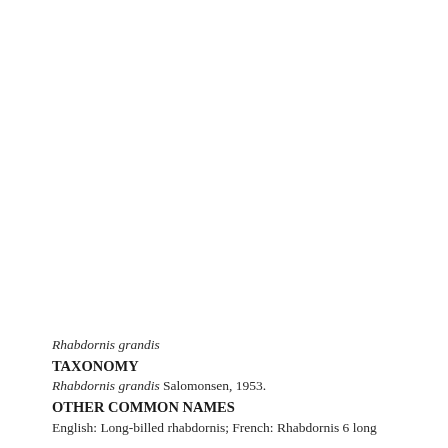Rhabdornis grandis
TAXONOMY
Rhabdornis grandis Salomonsen, 1953.
OTHER COMMON NAMES
English: Long-billed rhabdornis; French: Rhabdornis 6 long bec; German: Langsschnabel-Baumkletterstare; Spanish: Rhabdornis piquilargo.